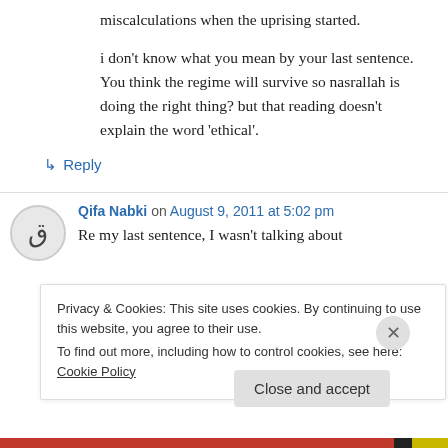miscalculations when the uprising started.
i don't know what you mean by your last sentence. You think the regime will survive so nasrallah is doing the right thing? but that reading doesn't explain the word 'ethical'.
↳ Reply
Qifa Nabki on August 9, 2011 at 5:02 pm
Re my last sentence, I wasn't talking about
Privacy & Cookies: This site uses cookies. By continuing to use this website, you agree to their use.
To find out more, including how to control cookies, see here: Cookie Policy
Close and accept